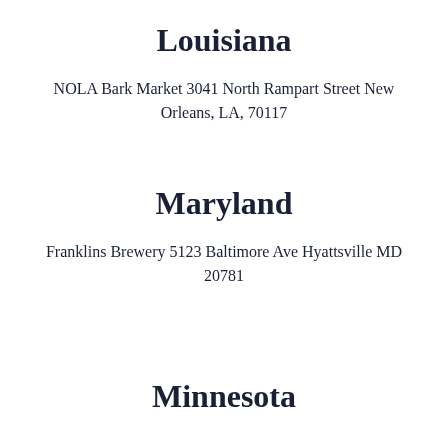Louisiana
NOLA Bark Market 3041 North Rampart Street New Orleans, LA, 70117
Maryland
Franklins Brewery 5123 Baltimore Ave Hyattsville MD 20781
Minnesota